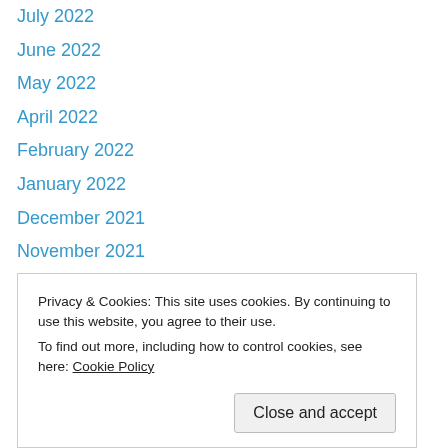July 2022
June 2022
May 2022
April 2022
February 2022
January 2022
December 2021
November 2021
October 2021
September 2021
August 2021
July 2021
June 2021
May 2021
Privacy & Cookies: This site uses cookies. By continuing to use this website, you agree to their use.
To find out more, including how to control cookies, see here: Cookie Policy
November 2020